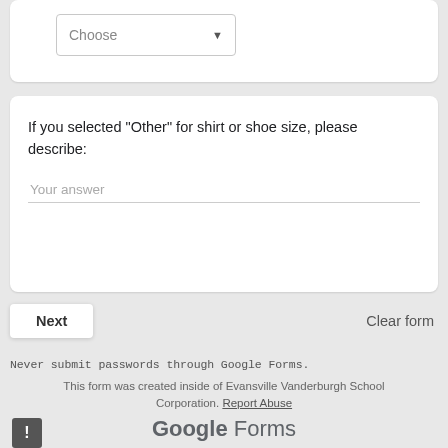[Figure (screenshot): Dropdown selector showing 'Choose' with a downward arrow, partially visible at top of page]
If you selected "Other" for shirt or shoe size, please describe:
Your answer
Next
Clear form
Never submit passwords through Google Forms.
This form was created inside of Evansville Vanderburgh School Corporation. Report Abuse
Google Forms